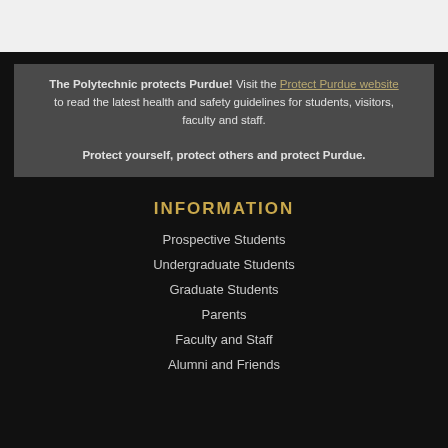The Polytechnic protects Purdue! Visit the Protect Purdue website to read the latest health and safety guidelines for students, visitors, faculty and staff. Protect yourself, protect others and protect Purdue.
INFORMATION
Prospective Students
Undergraduate Students
Graduate Students
Parents
Faculty and Staff
Alumni and Friends